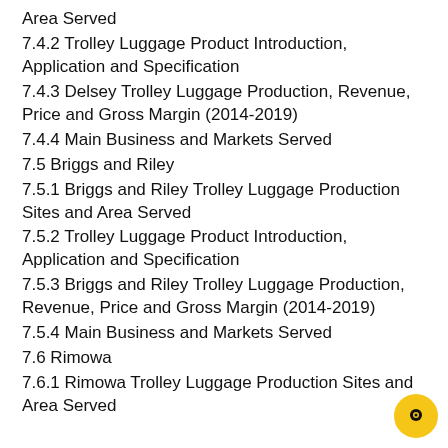Area Served
7.4.2 Trolley Luggage Product Introduction, Application and Specification
7.4.3 Delsey Trolley Luggage Production, Revenue, Price and Gross Margin (2014-2019)
7.4.4 Main Business and Markets Served
7.5 Briggs and Riley
7.5.1 Briggs and Riley Trolley Luggage Production Sites and Area Served
7.5.2 Trolley Luggage Product Introduction, Application and Specification
7.5.3 Briggs and Riley Trolley Luggage Production, Revenue, Price and Gross Margin (2014-2019)
7.5.4 Main Business and Markets Served
7.6 Rimowa
7.6.1 Rimowa Trolley Luggage Production Sites and Area Served